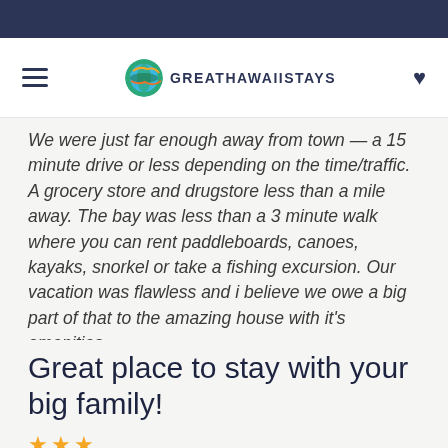GreatHawaiiStays
We were just far enough away from town — a 15 minute drive or less depending on the time/traffic. A grocery store and drugstore less than a mile away. The bay was less than a 3 minute walk where you can rent paddleboards, canoes, kayaks, snorkel or take a fishing excursion. Our vacation was flawless and i believe we owe a big part of that to the amazing house with it's amenities.
Great place to stay with your big family!